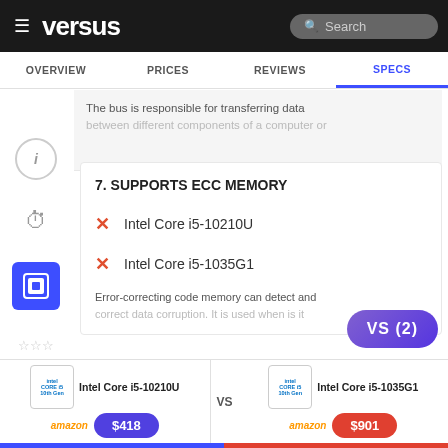versus — Search — OVERVIEW | PRICES | REVIEWS | SPECS
The bus is responsible for transferring data between different components of a computer or
7. SUPPORTS ECC MEMORY
✗ Intel Core i5-10210U
✗ Intel Core i5-1035G1
Error-correcting code memory can detect and correct data corruption. It is used when is it
8. EMMC VERSION
Intel Core i5-10210U VS Intel Core i5-1035G1 — $418 | $901